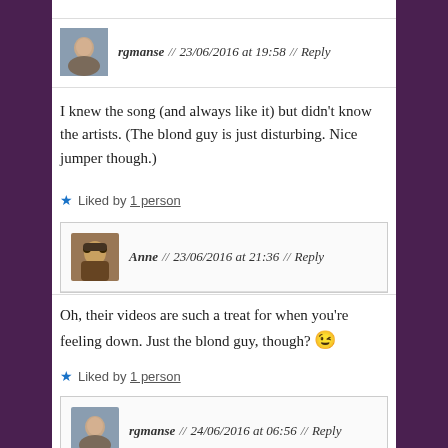rgmanse // 23/06/2016 at 19:58 // Reply
I knew the song (and always like it) but didn't know the artists. (The blond guy is just disturbing. Nice jumper though.)
Liked by 1 person
Anne // 23/06/2016 at 21:36 // Reply
Oh, their videos are such a treat for when you're feeling down. Just the blond guy, though? 😉
Liked by 1 person
rgmanse // 24/06/2016 at 06:56 // Reply